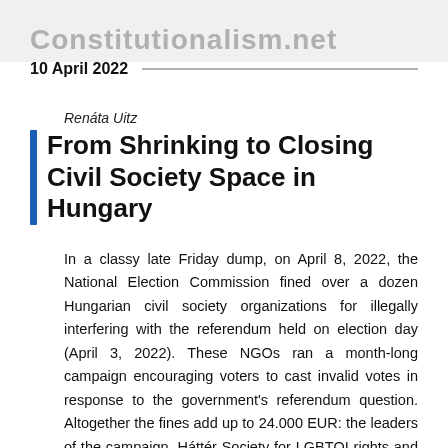Constitutionalism.net
10 April 2022
Renáta Uitz
From Shrinking to Closing Civil Society Space in Hungary
In a classy late Friday dump, on April 8, 2022, the National Election Commission fined over a dozen Hungarian civil society organizations for illegally interfering with the referendum held on election day (April 3, 2022). These NGOs ran a month-long campaign encouraging voters to cast invalid votes in response to the government's referendum question. Altogether the fines add up to 24.000 EUR: the leaders of the campaign, Háttér Society for LGBTQI rights and Amnesty International